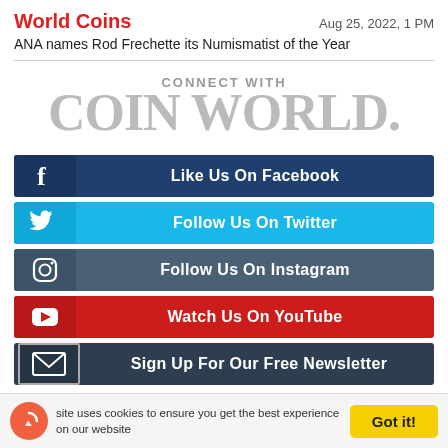World Coins
Aug 25, 2022, 1 PM
ANA names Rod Frechette its Numismatist of the Year
[Figure (logo): CONNECT WITH COIN WORLD logo in large gray serif letters]
[Figure (infographic): Social media buttons: Like Us On Facebook (dark blue), Follow Us On Twitter (light blue), Follow Us On Instagram (steel blue), Watch Us On YouTube (red), Sign Up For Our Free Newsletter (dark navy)]
site uses cookies to ensure you get the best experience on our website
Got it!